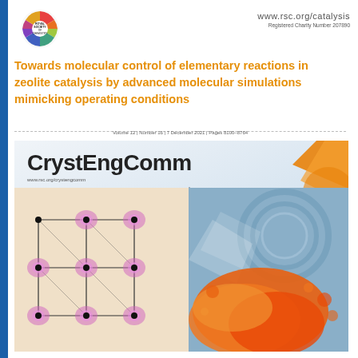[Figure (logo): Royal Society of Chemistry logo — circular colorful graphic with text ROYAL SOCIETY OF CHEMISTRY]
www.rsc.org/catalysis
Towards molecular control of elementary reactions in zeolite catalysis by advanced molecular simulations mimicking operating conditions
Volume 12 | Number 16 | 7 December 2021 | Pages 8100–8764
[Figure (illustration): CrystEngComm journal cover showing on the left a crystal structure visualization with molecular framework (black nodes, colored electron density maps in pink/purple/yellow/red), and on the right an orange powder/spray image against a blue-grey background, with orange geometric shapes in the top right corner. The journal title CrystEngComm appears prominently at the top.]